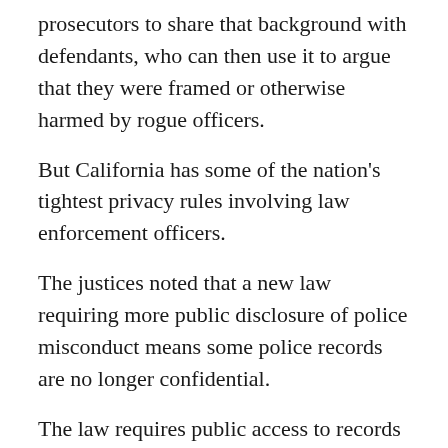prosecutors to share that background with defendants, who can then use it to argue that they were framed or otherwise harmed by rogue officers.
But California has some of the nation's tightest privacy rules involving law enforcement officers.
The justices noted that a new law requiring more public disclosure of police misconduct means some police records are no longer confidential.
The law requires public access to records if an officer has been found by the agency that employs them to have improperly used force or discharged firearms, committed sexual assaults on the job, or has been dishonest in official duties.